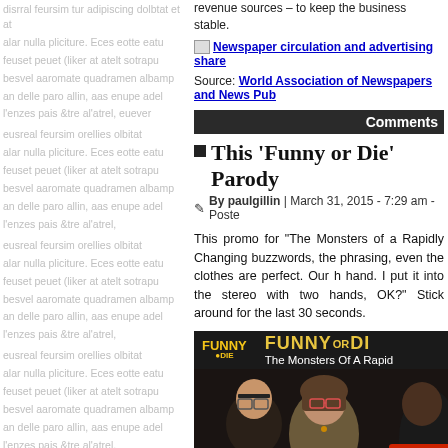revenue sources – to keep the business stable.
[Figure (other): Newspaper circulation and advertising share image link]
Source: World Association of Newspapers and News Pub
Comments
This 'Funny or Die' Parody
By paulgillin | March 31, 2015 - 7:29 am - Poste
This promo for "The Monsters of a Rapidly Changing buzzwords, the phrasing, even the clothes are perfect. Our h hand. I put it into the stereo with two hands, OK?" Stick around for the last 30 seconds.
[Figure (screenshot): Funny or Die video thumbnail showing 'The Monsters Of A Rapidly Changing' with three people on a dark stage and red monster graphic]